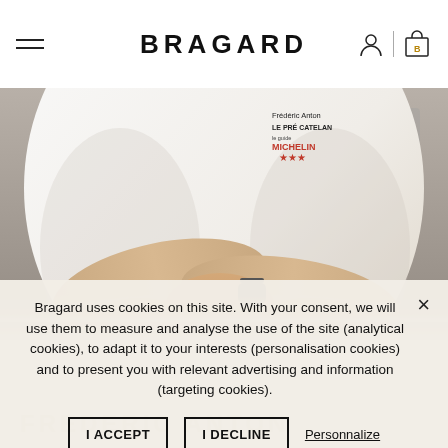BRAGARD
[Figure (photo): Chef in white jacket with arms crossed, wearing a Michelin-starred restaurant badge. Badge reads: Frédéric Anton, LE PRÉ CATELAN, le guide MICHELIN (3 stars).]
Bragard uses cookies on this site. With your consent, we will use them to measure and analyse the use of the site (analytical cookies), to adapt it to your interests (personalisation cookies) and to present you with relevant advertising and information (targeting cookies).
I ACCEPT  I DECLINE  Personnalize
FREDERIC ANTON